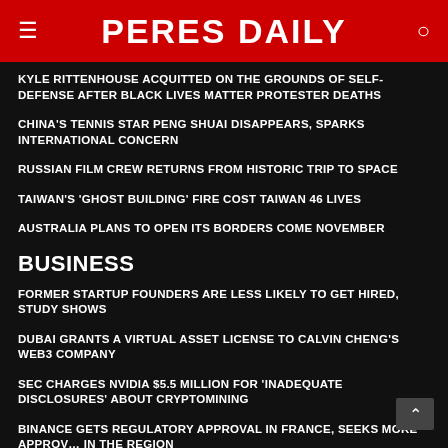PERES DAILY
KYLE RITTENHOUSE ACQUITTED ON THE GROUNDS OF SELF-DEFENSE AFTER BLACK LIVES MATTER PROTESTER DEATHS
CHINA'S TENNIS STAR PENG SHUAI DISAPPEARS, SPARKS INTERNATIONAL CONCERN
RUSSIAN FILM CREW RETURNS FROM HISTORIC TRIP TO SPACE
TAIWAN'S 'GHOST BUILDING' FIRE COST TAIWAN 46 LIVES
AUSTRALIA PLANS TO OPEN ITS BORDERS COME NOVEMBER
BUSINESS
FORMER STARTUP FOUNDERS ARE LESS LIKELY TO GET HIRED, STUDY SHOWS
DUBAI GRANTS A VIRTUAL ASSET LICENSE TO CALVIN CHENG'S WEB3 COMPANY
SEC CHARGES NVIDIA $5.5 MILLION FOR 'INADEQUATE DISCLOSURES' ABOUT CRYPTOMINING
BINANCE GETS REGULATORY APPROVAL IN FRANCE, SEEKS MORE APPROVAL IN THE REGION